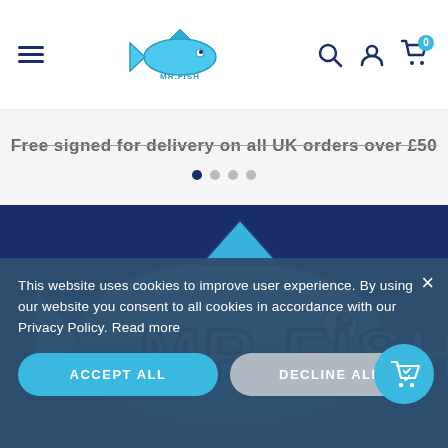[Figure (logo): Mr. Fish website header with hamburger menu, Mr Fish fish logo, search icon, account icon, and shopping cart with 0 badge]
Free signed for delivery on all UK orders over £50
[Figure (illustration): Mr. Fish graffiti-style logo on dark navy blue background showing a stylized fish with the text MR.FISH in blue chrome lettering]
This website uses cookies to improve user experience. By using our website you consent to all cookies in accordance with our Privacy Policy. Read more